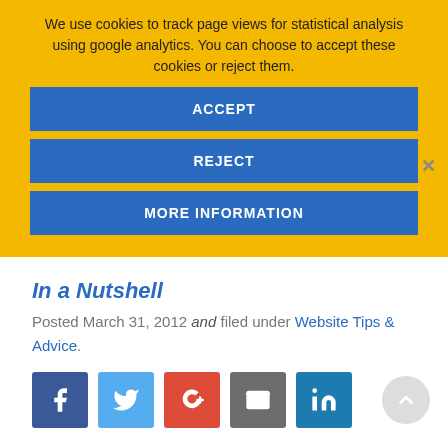We use cookies to track page views for statistical analysis using google analytics. You can choose to accept these cookies or reject them.
ACCEPT
REJECT
MORE INFORMATION
In a Nutshell
Posted March 31, 2012 and filed under Website Tips & Advice.
[Figure (infographic): Social sharing icons: Facebook, Twitter, Google+, Email, LinkedIn]
WHAT THE NEW FACEBOOK TIMELINE MEANS FOR YOUR